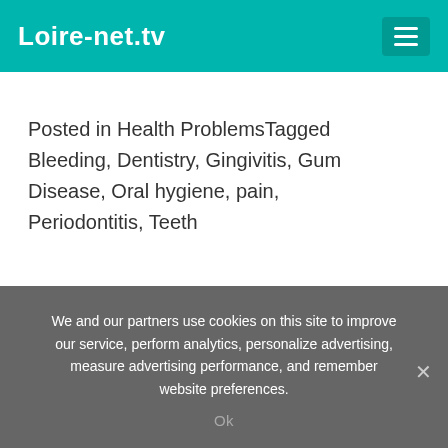Loire-net.tv
Posted in Health ProblemsTagged Bleeding, Dentistry, Gingivitis, Gum Disease, Oral hygiene, pain, Periodontitis, Teeth
< Nanoencapsulation in Pharmaceuticals
Nutritional Needs of Young Children (Age 5-10) >
We and our partners use cookies on this site to improve our service, perform analytics, personalize advertising, measure advertising performance, and remember website preferences.
Ok